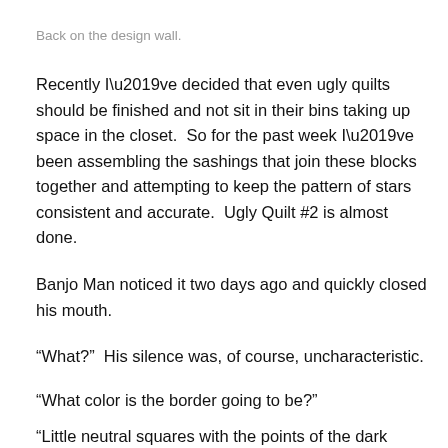Back on the design wall.
Recently I’ve decided that even ugly quilts should be finished and not sit in their bins taking up space in the closet.  So for the past week I’ve been assembling the sashings that join these blocks together and attempting to keep the pattern of stars consistent and accurate.  Ugly Quilt #2 is almost done.
Banjo Man noticed it two days ago and quickly closed his mouth.
“What?”  His silence was, of course, uncharacteristic.
“What color is the border going to be?”
“Little neutral squares with the points of the dark brown